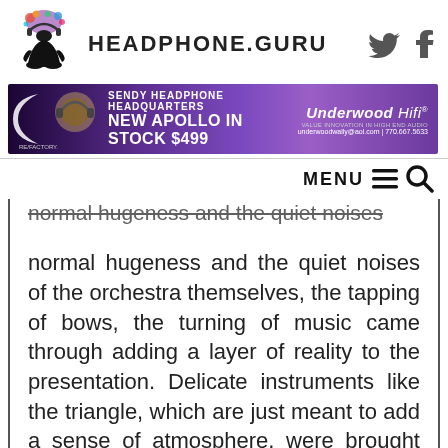HEADPHONE.GURU
[Figure (illustration): Purple advertisement banner for Underwood Hifi: Sendy Headphone Headquarters, New Apollo in Stock $499, underwoodwally@aol.com | 770.667.5633]
MENU
normal hugeness and the quiet noises of the orchestra themselves, the tapping of bows, the turning of music came through adding a layer of reality to the presentation. Delicate instruments like the triangle, which are just meant to add a sense of atmosphere, were brought forth, not emphasized but more like having a mask removed